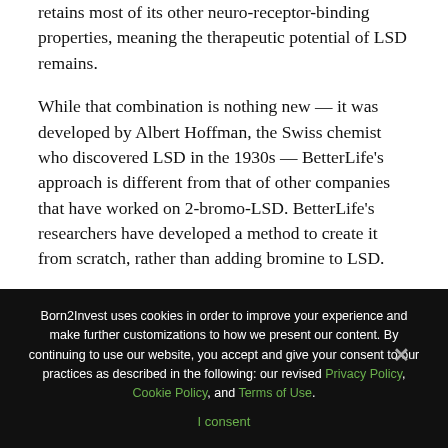retains most of its other neuro-receptor-binding properties, meaning the therapeutic potential of LSD remains.
While that combination is nothing new — it was developed by Albert Hoffman, the Swiss chemist who discovered LSD in the 1930s — BetterLife's approach is different from that of other companies that have worked on 2-bromo-LSD. BetterLife's researchers have developed a method to create it from scratch, rather than adding bromine to LSD.
SEE ALSO  SparingVision closes a €44.5 million round and gives entry to Ysios Capital
Born2Invest uses cookies in order to improve your experience and make further customizations to how we present our content. By continuing to use our website, you accept and give your consent to our practices as described in the following: our revised Privacy Policy, Cookie Policy, and Terms of Use.
I consent